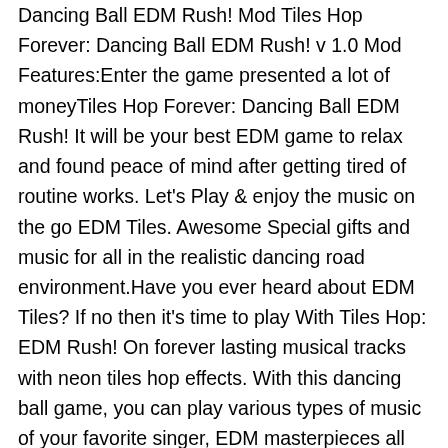Dancing Ball EDM Rush! Mod Tiles Hop Forever: Dancing Ball EDM Rush! v 1.0 Mod Features:Enter the game presented a lot of moneyTiles Hop Forever: Dancing Ball EDM Rush! It will be your best EDM game to relax and found peace of mind after getting tired of routine works. Let's Play & enjoy the music on the go EDM Tiles. Awesome Special gifts and music for all in the realistic dancing road environment.Have you ever heard about EDM Tiles? If no then it's time to play With Tiles Hop: EDM Rush! On forever lasting musical tracks with neon tiles hop effects. With this dancing ball game, you can play various types of music of your favorite singer, EDM masterpieces all time from beautiful Piano, Guitar songs to Rock and pop. Soon in the updates, you can upload your own favorite songs to play! In your own way.How to play such amazing neon tiles hop game with full interest and devotion.🔴Touch, Hold and Drag the ball hop to make it jump on the splashy Tiles.🔴Don't Miss the Tiles! If missed, don't worry still you have the option to continue from the same place.🔴Now you